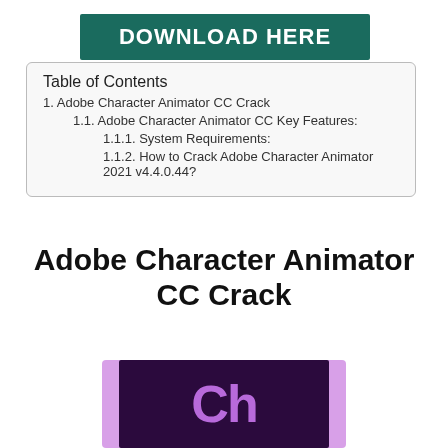[Figure (other): Green banner button with white bold text reading DOWNLOAD HERE]
| Table of Contents |
| 1. Adobe Character Animator CC Crack |
| 1.1. Adobe Character Animator CC Key Features: |
| 1.1.1. System Requirements: |
| 1.1.2. How to Crack Adobe Character Animator 2021 v4.4.0.44? |
Adobe Character Animator CC Crack
[Figure (logo): Adobe Character Animator CC logo — purple border with dark purple background and stylized 'Ch' letters in purple]